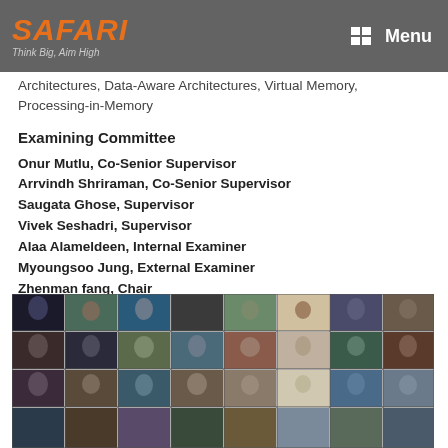SAFARI Think Big, Aim High | Menu
Architectures, Data-Aware Architectures, Virtual Memory, Processing-in-Memory
Examining Committee
Onur Mutlu, Co-Senior Supervisor
Arrvindh Shriraman, Co-Senior Supervisor
Saugata Ghose, Supervisor
Vivek Seshadri, Supervisor
Alaa Alameldeen, Internal Examiner
Myoungsoo Jung, External Examiner
Zhenman fang, Chair
[Figure (photo): Video conference grid showing multiple participants in a zoom/online meeting]